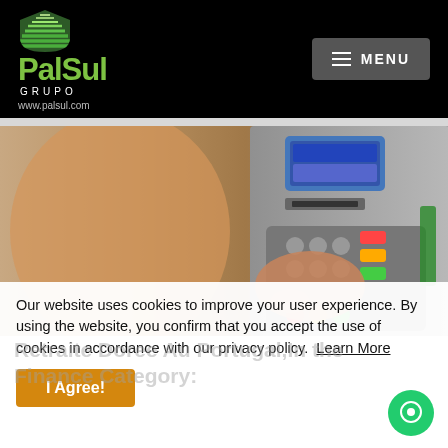[Figure (logo): PalSul Grupo logo with green layered shield icon, green bold text 'PalSul', white 'GRUPO' subtitle, and www.palsul.com URL on black background]
[Figure (photo): Person's hand pressing buttons on an ATM keypad with colorful keys (green, yellow, red, orange) and ATM screen visible in background]
Our website uses cookies to improve your user experience. By using the website, you confirm that you accept the use of cookies in accordance with our privacy policy.  Learn More
I Agree!
Retraite Doree Au Portugal,In the Finance Category: